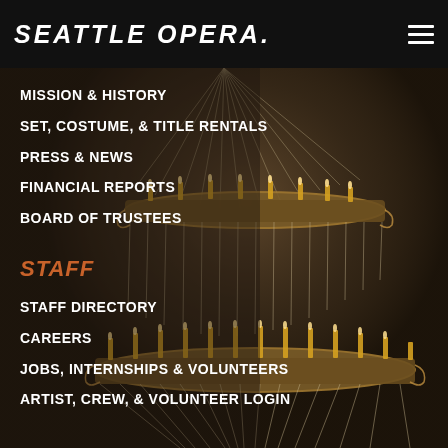SEATTLE OPERA.
MISSION & HISTORY
SET, COSTUME, & TITLE RENTALS
PRESS & NEWS
FINANCIAL REPORTS
BOARD OF TRUSTEES
STAFF
STAFF DIRECTORY
CAREERS
JOBS, INTERNSHIPS & VOLUNTEERS
ARTIST, CREW, & VOLUNTEER LOGIN
[Figure (photo): Ornate chandelier with candle-style lights and crystal/glass chain decorations on dark background]